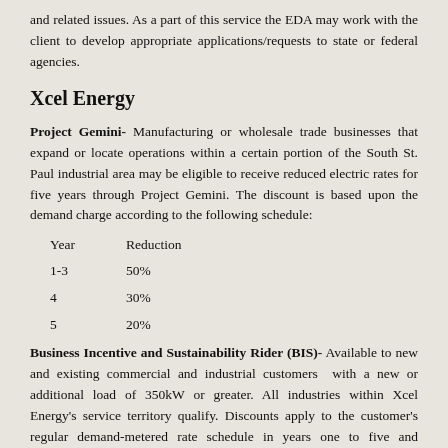and related issues. As a part of this service the EDA may work with the client to develop appropriate applications/requests to state or federal agencies.
Xcel Energy
Project Gemini- Manufacturing or wholesale trade businesses that expand or locate operations within a certain portion of the South St. Paul industrial area may be eligible to receive reduced electric rates for five years through Project Gemini. The discount is based upon the demand charge according to the following schedule:
| Year | Reduction |
| --- | --- |
| 1-3 | 50% |
| 4 | 30% |
| 5 | 20% |
Business Incentive and Sustainability Rider (BIS)- Available to new and existing commercial and industrial customers with a new or additional load of 350kW or greater. All industries within Xcel Energy's service territory qualify. Discounts apply to the customer's regular demand-metered rate schedule in years one to five and resuming normalcy in year six. The discount applies as follows: